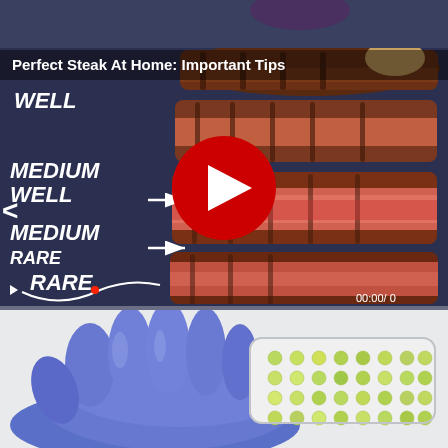[Figure (screenshot): Video thumbnail for 'Perfect Steak At Home: Important Tips' showing stacked sliced steak with doneness labels (Well, Medium Well, Medium Rare, Rare) on dark blue-grey background with a red play button overlay and timestamp 00:00/0]
Perfect Steak At Home: Important Tips
[Figure (photo): Photo of a blue-gloved hand holding a white multiwell plate/petri dish with yellow-green contents, on a white background]